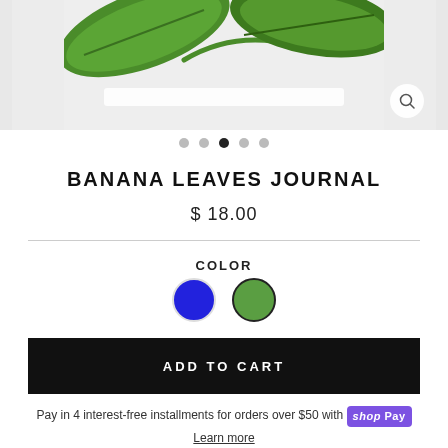[Figure (photo): Product image of Banana Leaves Journal showing green banana leaves on white background, with a magnifying glass icon in bottom right corner]
[Figure (other): Carousel dots navigation — 5 dots, third one filled/active]
BANANA LEAVES JOURNAL
$ 18.00
COLOR
[Figure (other): Color swatches: blue circle and green circle (selected with dark border)]
ADD TO CART
Pay in 4 interest-free installments for orders over $50 with shop Pay Learn more